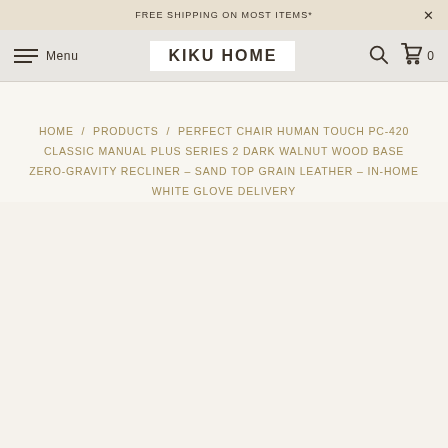FREE SHIPPING ON MOST ITEMS*
Menu  KIKU HOME
HOME / PRODUCTS / PERFECT CHAIR HUMAN TOUCH PC-420 CLASSIC MANUAL PLUS SERIES 2 DARK WALNUT WOOD BASE ZERO-GRAVITY RECLINER - SAND TOP GRAIN LEATHER - IN-HOME WHITE GLOVE DELIVERY